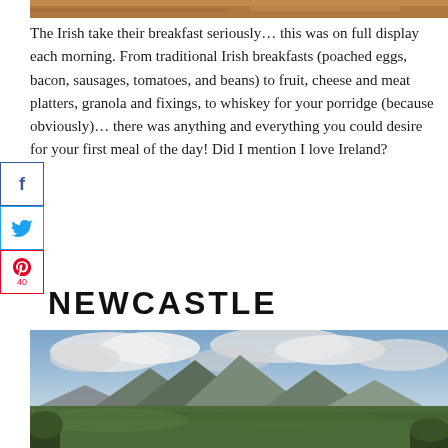[Figure (photo): Top portion of a food/breakfast photo with warm wooden tones]
The Irish take their breakfast seriously… this was on full display each morning. From traditional Irish breakfasts (poached eggs, bacon, sausages, tomatoes, and beans) to fruit, cheese and meat platters, granola and fixings, to whiskey for your porridge (because obviously)… there was anything and everything you could desire for your first meal of the day! Did I mention I love Ireland?
NEWCASTLE
[Figure (photo): Scenic landscape photograph of rolling green hills and mountains under a dramatic cloudy sky, likely in Ireland near Newcastle]